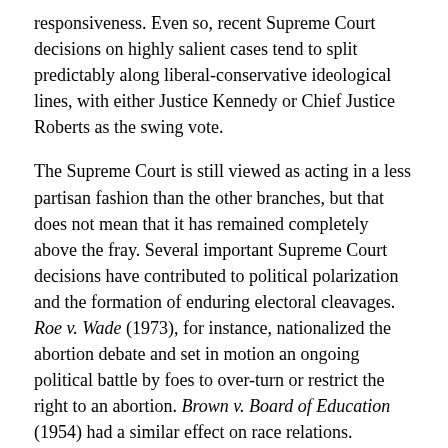responsiveness. Even so, recent Supreme Court decisions on highly salient cases tend to split predictably along liberal-conservative ideological lines, with either Justice Kennedy or Chief Justice Roberts as the swing vote.
The Supreme Court is still viewed as acting in a less partisan fashion than the other branches, but that does not mean that it has remained completely above the fray. Several important Supreme Court decisions have contributed to political polarization and the formation of enduring electoral cleavages. Roe v. Wade (1973), for instance, nationalized the abortion debate and set in motion an ongoing political battle by foes to over-turn or restrict the right to an abortion. Brown v. Board of Education (1954) had a similar effect on race relations.
The fact that the Court has not been dragged into the partisan morass more than it has is due to the actions of the swing justices. In two recent health care cases, King v. Burwell (2015) and NIFB v. Sibelius (2012), John Roberts has deliberately crafted a balanced decision with the apparent intention of preserving the Court's